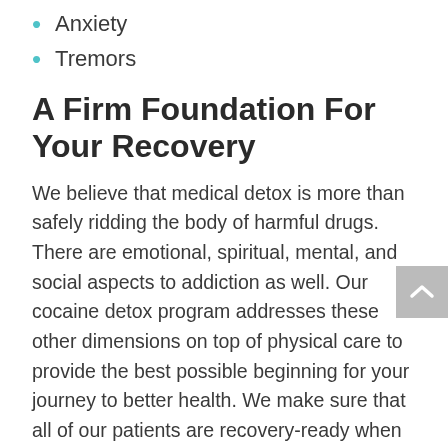Anxiety
Tremors
A Firm Foundation For Your Recovery
We believe that medical detox is more than safely ridding the body of harmful drugs. There are emotional, spiritual, mental, and social aspects to addiction as well. Our cocaine detox program addresses these other dimensions on top of physical care to provide the best possible beginning for your journey to better health. We make sure that all of our patients are recovery-ready when they leave our facility for a rehab center of their choice.
Get Help For Cocaine